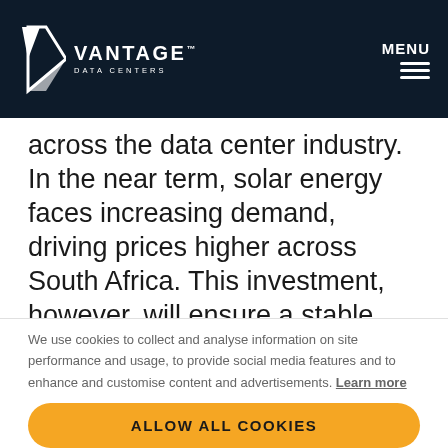VANTAGE DATA CENTERS — MENU
across the data center industry. In the near term, solar energy faces increasing demand, driving prices higher across South Africa. This investment, however, will ensure a stable price for our customers.”
We use cookies to collect and analyse information on site performance and usage, to provide social media features and to enhance and customise content and advertisements. Learn more
ALLOW ALL COOKIES
COOKIE SETTINGS